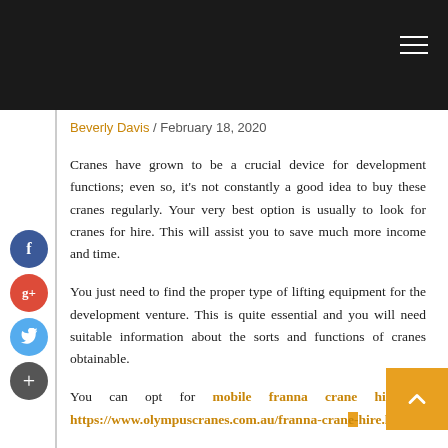Beverly Davis / February 18, 2020
Cranes have grown to be a crucial device for development functions; even so, it's not constantly a good idea to buy these cranes regularly. Your very best option is usually to look for cranes for hire. This will assist you to save much more income and time.
You just need to find the proper type of lifting equipment for the development venture. This is quite essential and you will need suitable information about the sorts and functions of cranes obtainable.
You can opt for mobile franna crane hire at https://www.olympuscranes.com.au/franna-crane-hire.html.